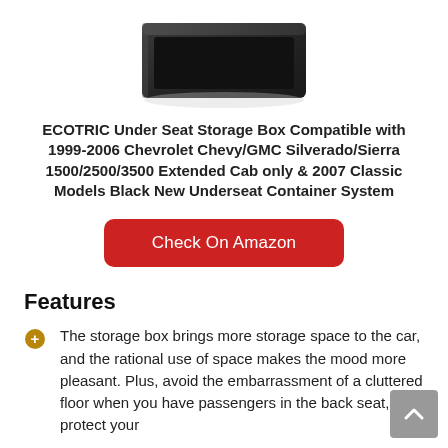[Figure (photo): Partial view of a black under-seat storage box/container, dark plastic, photographed from above on a white background.]
ECOTRIC Under Seat Storage Box Compatible with 1999-2006 Chevrolet Chevy/GMC Silverado/Sierra 1500/2500/3500 Extended Cab only & 2007 Classic Models Black New Underseat Container System
Check On Amazon
Features
The storage box brings more storage space to the car, and the rational use of space makes the mood more pleasant. Plus, avoid the embarrassment of a cluttered floor when you have passengers in the back seat, protect your